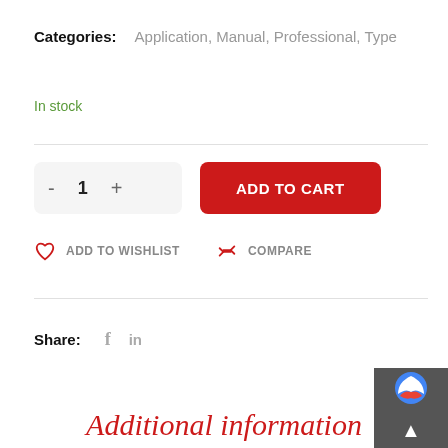Categories: Application, Manual, Professional, Type
In stock
ADD TO CART
ADD TO WISHLIST
COMPARE
Share:
Additional information